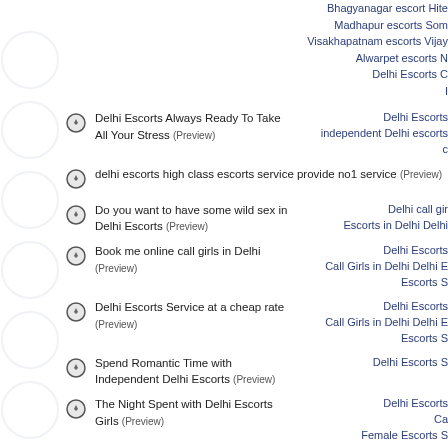Bhagyanagar escort Hite
Madhapur escorts Som
Visakhapatnam escorts Vijay
Alwarpet escorts N
Delhi Escorts C
Delhi Escorts Always Ready To Take All Your Stress (Preview)
Delhi Escorts independent Delhi escorts c
delhi escorts high class escorts service provide no1 service (Preview)
Do you want to have some wild sex in Delhi Escorts (Preview)
Delhi call girls Escorts in Delhi Delhi
Book me online call girls in Delhi (Preview)
Delhi Escorts Call Girls in Delhi Delhi Escorts S
Delhi Escorts Service at a cheap rate (Preview)
Delhi Escorts Call Girls in Delhi Delhi Escorts S
Spend Romantic Time with Independent Delhi Escorts (Preview)
Delhi Escorts S
The Night Spent with Delhi Escorts Girls (Preview)
Delhi Escorts Ca Female Escorts S
High Profile Escorts in Delhi (Preview)
escorts in del